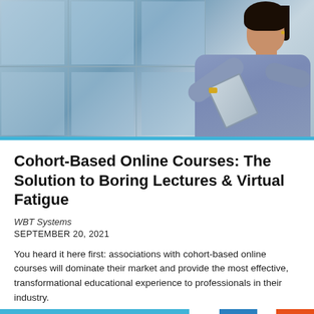[Figure (photo): A professional woman in a blue short-sleeve button-up shirt holding a tablet device, standing in front of a building with large glass windows/panels. The image is taken from a side/three-quarter angle.]
Cohort-Based Online Courses: The Solution to Boring Lectures & Virtual Fatigue
WBT Systems
SEPTEMBER 20, 2021
You heard it here first: associations with cohort-based online courses will dominate their market and provide the most effective, transformational educational experience to professionals in their industry.